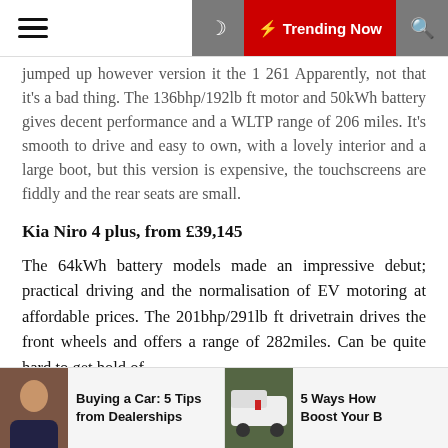Trending Now
jumped up however version it the 1 261 Apparently, not that it's a bad thing. The 136bhp/192lb ft motor and 50kWh battery gives decent performance and a WLTP range of 206 miles. It's smooth to drive and easy to own, with a lovely interior and a large boot, but this version is expensive, the touchscreens are fiddly and the rear seats are small.
Kia Niro 4 plus, from £39,145
The 64kWh battery models made an impressive debut; practical driving and the normalisation of EV motoring at affordable prices. The 201bhp/291lb ft drivetrain drives the front wheels and offers a range of 282miles. Can be quite hard to get hold of.
Volkswagen ID.3, from £38,880
Buying a Car: 5 Tips from Dealerships
5 Ways How Boost Your B